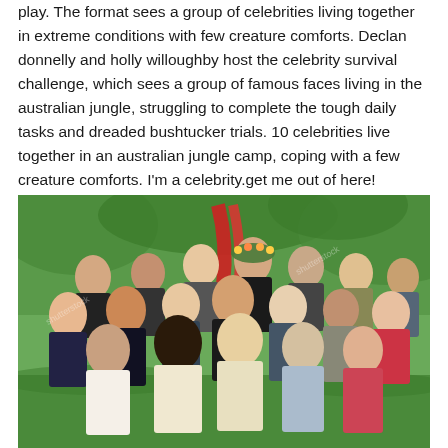play. The format sees a group of celebrities living together in extreme conditions with few creature comforts. Declan donnelly and holly willoughby host the celebrity survival challenge, which sees a group of famous faces living in the australian jungle, struggling to complete the tough daily tasks and dreaded bushtucker trials. 10 celebrities live together in an australian jungle camp, coping with a few creature comforts. I'm a celebrity.get me out of here! Australia history and food challenges that are bigger, bolder and brighter. Katherine is about to get slammed and she's also in for a shocking twist.
[Figure (photo): Group photo of approximately 20-25 people of various ages posing together outdoors in a green field/meadow setting with red ribbon/fabric decorations in the background. The group includes men and women of diverse appearances, some smiling at the camera. Shutterstock watermark visible.]